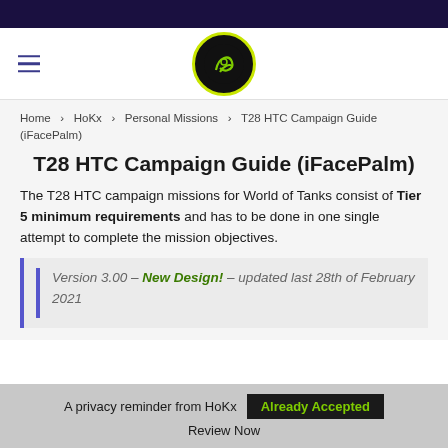Home › HoKx › Personal Missions › T28 HTC Campaign Guide (iFacePalm)
T28 HTC Campaign Guide (iFacePalm)
The T28 HTC campaign missions for World of Tanks consist of Tier 5 minimum requirements and has to be done in one single attempt to complete the mission objectives.
Version 3.00 – New Design! – updated last 28th of February 2021
A privacy reminder from HoKx   Already Accepted   Review Now